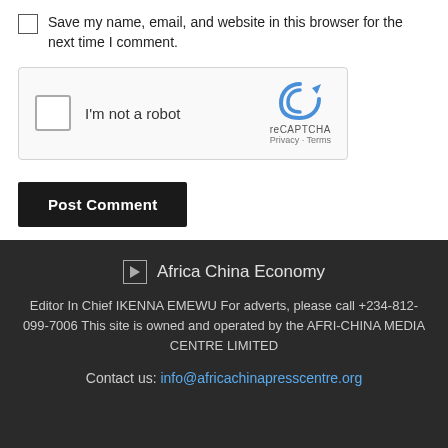Save my name, email, and website in this browser for the next time I comment.
[Figure (other): reCAPTCHA widget with checkbox labeled 'I'm not a robot' and reCAPTCHA logo with Privacy - Terms links]
Post Comment
[Figure (logo): Africa China Economy logo placeholder image]
Africa China Economy
Editor In Chief IKENNA EMEWU For adverts, please call +234-812-099-7006 This site is owned and operated by the AFRI-CHINA MEDIA CENTRE LIMITED
Contact us: info@africachinapresscentre.org